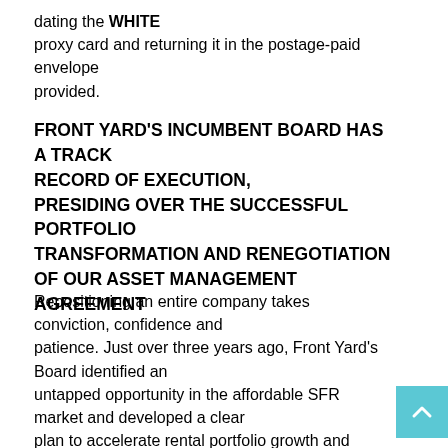dating the WHITE proxy card and returning it in the postage-paid envelope provided.
FRONT YARD'S INCUMBENT BOARD HAS A TRACK RECORD OF EXECUTION, PRESIDING OVER THE SUCCESSFUL PORTFOLIO TRANSFORMATION AND RENEGOTIATION OF OUR ASSET MANAGEMENT AGREEMENT
Repositioning an entire company takes conviction, confidence and patience. Just over three years ago, Front Yard's Board identified an untapped opportunity in the affordable SFR market and developed a clear plan to accelerate rental portfolio growth and become the